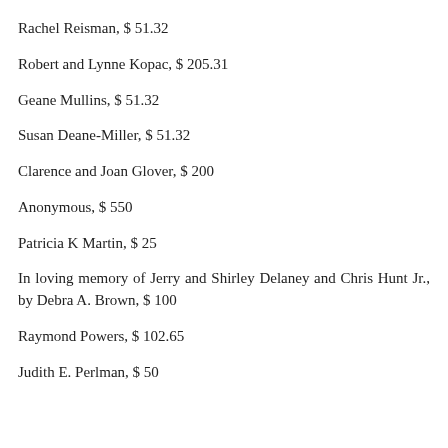Rachel Reisman, $ 51.32
Robert and Lynne Kopac, $ 205.31
Geane Mullins, $ 51.32
Susan Deane-Miller, $ 51.32
Clarence and Joan Glover, $ 200
Anonymous, $ 550
Patricia K Martin, $ 25
In loving memory of Jerry and Shirley Delaney and Chris Hunt Jr., by Debra A. Brown, $ 100
Raymond Powers, $ 102.65
Judith E. Perlman, $ 50